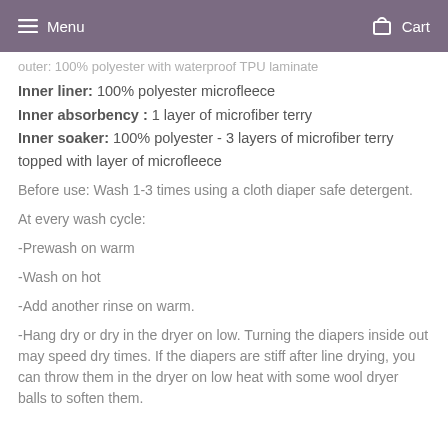Menu  Cart
outer: 100% polyester with waterproof TPU laminate
Inner liner: 100% polyester microfleece
Inner absorbency : 1 layer of microfiber terry
Inner soaker: 100% polyester - 3 layers of microfiber terry topped with layer of microfleece
Before use: Wash 1-3 times using a cloth diaper safe detergent.
At every wash cycle:
-Prewash on warm
-Wash on hot
-Add another rinse on warm.
-Hang dry or dry in the dryer on low. Turning the diapers inside out may speed dry times. If the diapers are stiff after line drying, you can throw them in the dryer on low heat with some wool dryer balls to soften them.